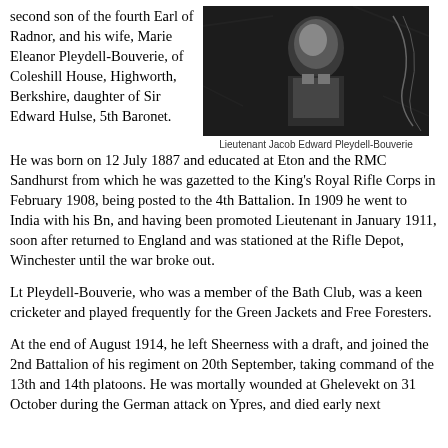second son of the fourth Earl of Radnor, and his wife, Marie Eleanor Pleydell-Bouverie, of Coleshill House, Highworth, Berkshire, daughter of Sir Edward Hulse, 5th Baronet.
[Figure (photo): Black and white portrait photograph of Lieutenant Jacob Edward Pleydell-Bouverie in military uniform]
Lieutenant Jacob Edward Pleydell-Bouverie
He was born on 12 July 1887 and educated at Eton and the RMC Sandhurst from which he was gazetted to the King's Royal Rifle Corps in February 1908, being posted to the 4th Battalion. In 1909 he went to India with his Bn, and having been promoted Lieutenant in January 1911, soon after returned to England and was stationed at the Rifle Depot, Winchester until the war broke out.
Lt Pleydell-Bouverie, who was a member of the Bath Club, was a keen cricketer and played frequently for the Green Jackets and Free Foresters.
At the end of August 1914, he left Sheerness with a draft, and joined the 2nd Battalion of his regiment on 20th September, taking command of the 13th and 14th platoons. He was mortally wounded at Ghelevekt on 31 October during the German attack on Ypres, and died early next